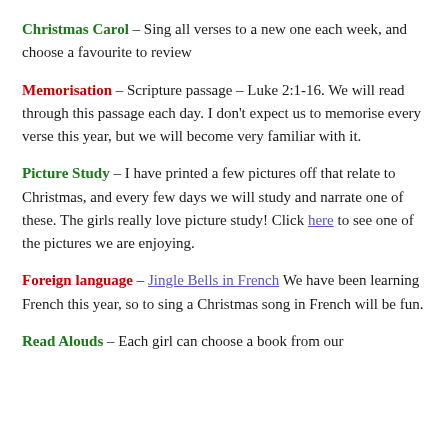Christmas Carol – Sing all verses to a new one each week, and choose a favourite to review
Memorisation – Scripture passage – Luke 2:1-16. We will read through this passage each day. I don't expect us to memorise every verse this year, but we will become very familiar with it.
Picture Study – I have printed a few pictures off that relate to Christmas, and every few days we will study and narrate one of these. The girls really love picture study! Click here to see one of the pictures we are enjoying.
Foreign language – Jingle Bells in French We have been learning French this year, so to sing a Christmas song in French will be fun.
Read Alouds – Each girl can choose a book from our